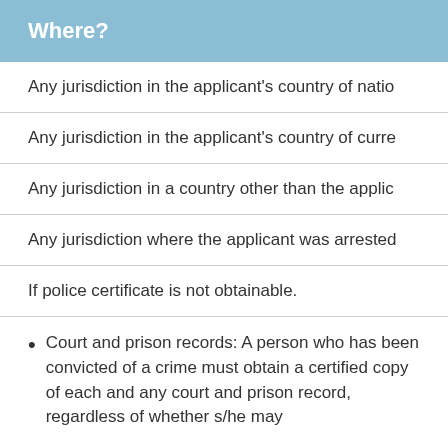Where?
Any jurisdiction in the applicant's country of natio
Any jurisdiction in the applicant's country of curre
Any jurisdiction in a country other than the applica
Any jurisdiction where the applicant was arrested
If police certificate is not obtainable.
Court and prison records: A person who has been convicted of a crime must obtain a certified copy of each and any court and prison record, regardless of whether s/he may